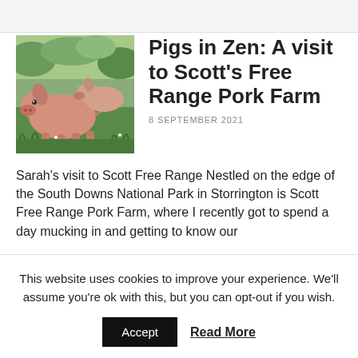[Figure (photo): Photo of pigs in a green grassy field]
Pigs in Zen: A visit to Scott's Free Range Pork Farm
8 SEPTEMBER 2021
Sarah's visit to Scott Free Range Nestled on the edge of the South Downs National Park in Storrington is Scott Free Range Pork Farm, where I recently got to spend a day mucking in and getting to know our
This website uses cookies to improve your experience. We'll assume you're ok with this, but you can opt-out if you wish.
Accept
Read More